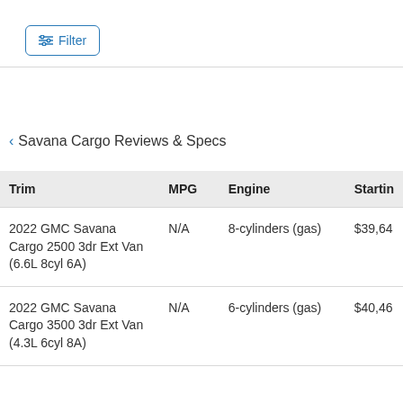[Figure (screenshot): Filter button with sliders icon and blue border]
< Savana Cargo Reviews & Specs
| Trim | MPG | Engine | Starting |
| --- | --- | --- | --- |
| 2022 GMC Savana Cargo 2500 3dr Ext Van (6.6L 8cyl 6A) | N/A | 8-cylinders (gas) | $39,64 |
| 2022 GMC Savana Cargo 3500 3dr Ext Van (4.3L 6cyl 8A) | N/A | 6-cylinders (gas) | $40,46 |